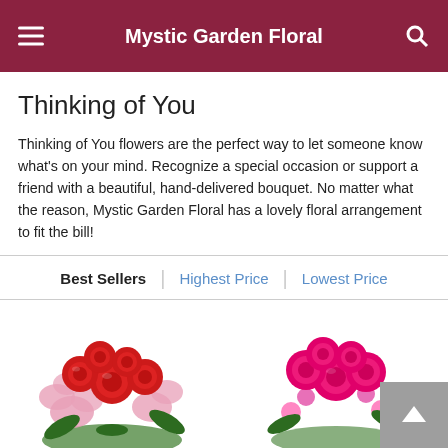Mystic Garden Floral
Thinking of You
Thinking of You flowers are the perfect way to let someone know what's on your mind. Recognize a special occasion or support a friend with a beautiful, hand-delivered bouquet. No matter what the reason, Mystic Garden Floral has a lovely floral arrangement to fit the bill!
Best Sellers | Highest Price | Lowest Price
[Figure (photo): Two flower bouquet images at the bottom: left shows red roses and pink alstroemeria arrangement, right shows hot pink roses and small flowers arrangement]
[Figure (other): Scroll-to-top button with upward arrow icon]